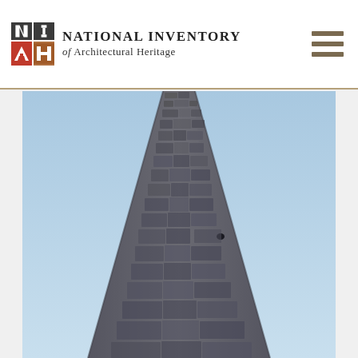National Inventory of Architectural Heritage
[Figure (photo): Close-up upward-looking photograph of a tall stone round tower with rough rubble stone masonry and a blue sky background. The tower tapers toward the top. A small opening/window is visible near the middle-lower section.]